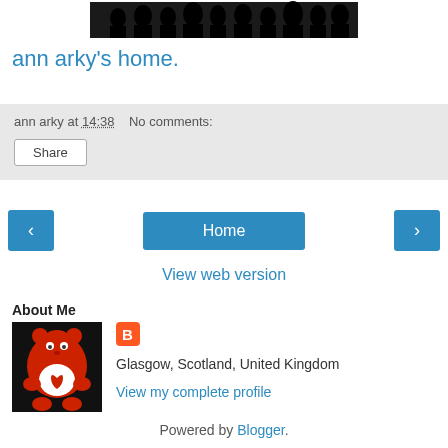[Figure (photo): Black silhouette banner image of people/crowd]
ann arky's home.
ann arky at 14:38    No comments:
Share
‹   Home   ›
View web version
About Me
[Figure (photo): Red Care Bear toy photo on black background]
[Figure (logo): Blogger orange B logo icon]
Glasgow, Scotland, United Kingdom
View my complete profile
Powered by Blogger.